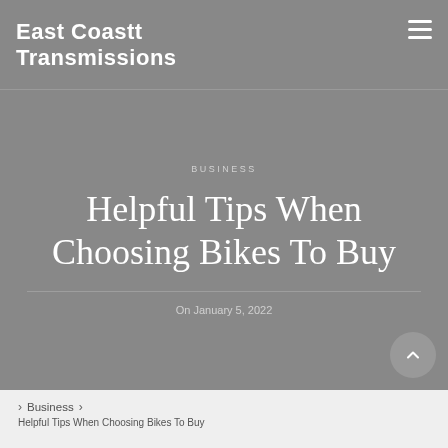East Coastt Transmissions
BUSINESS
Helpful Tips When Choosing Bikes To Buy
On January 5, 2022
Business